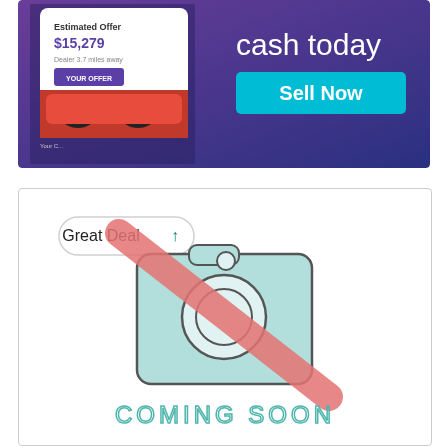[Figure (screenshot): Advertisement banner with purple/blue gradient background showing a smartphone with a car listing app displaying 'Estimated Offer $15,279, Dealer 3.7 miles away, YOUR OFFER' button, and text 'cash today' with a teal 'Sell Now' button on the right side.]
[Figure (illustration): Car listing card with white background, showing a 'Great Deal' badge with upward arrow in teal, a large camera icon with a red diagonal slash (no photo placeholder) in teal/mint color, and 'COMING SOON' text in teal outline letters at the bottom.]